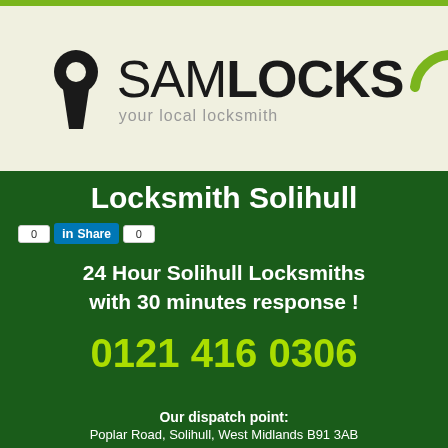[Figure (logo): SamLocks logo with keyhole icon and green arc, tagline 'your local locksmith']
Locksmith Solihull
[Figure (infographic): LinkedIn Share social button with count 0]
24 Hour Solihull Locksmiths with 30 minutes response !
0121 416 0306
Our dispatch point:
Poplar Road, Solihull, West Midlands B91 3AB